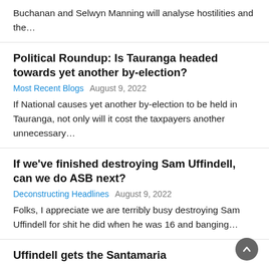Buchanan and Selwyn Manning will analyse hostilities and the…
Political Roundup: Is Tauranga headed towards yet another by-election?
Most Recent Blogs   August 9, 2022
If National causes yet another by-election to be held in Tauranga, not only will it cost the taxpayers another unnecessary…
If we've finished destroying Sam Uffindell, can we do ASB next?
Deconstructing Headlines   August 9, 2022
Folks, I appreciate we are terribly busy destroying Sam Uffindell for shit he did when he was 16 and banging…
Uffindell gets the Santamaria